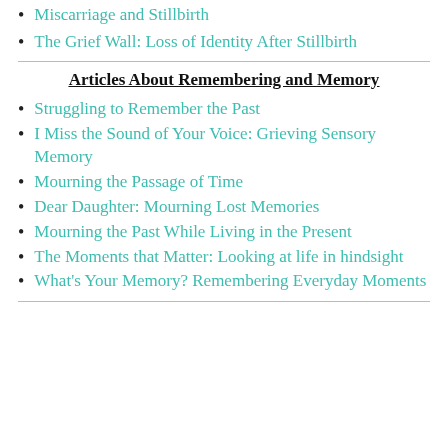Miscarriage and Stillbirth
The Grief Wall: Loss of Identity After Stillbirth
Articles About Remembering and Memory
Struggling to Remember the Past
I Miss the Sound of Your Voice: Grieving Sensory Memory
Mourning the Passage of Time
Dear Daughter: Mourning Lost Memories
Mourning the Past While Living in the Present
The Moments that Matter: Looking at life in hindsight
What's Your Memory? Remembering Everyday Moments